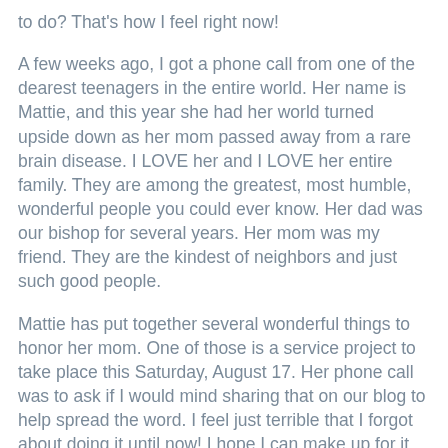to do?  That's how I feel right now!
A few weeks ago, I got a phone call from one of the dearest teenagers in the entire world.  Her name is Mattie, and this year she had her world turned upside down as her mom passed away from a rare brain disease.  I LOVE her and I LOVE her entire family.  They are among the greatest, most humble, wonderful people you could ever know.  Her dad was our bishop for several years.  Her mom was my friend.  They are the kindest of neighbors and just such good people.
Mattie has put together several wonderful things to honor her mom.  One of those is a service project to take place this Saturday, August 17.  Her phone call was to ask if I would mind sharing that on our blog to help spread the word.  I feel just terrible that I forgot about doing it until now!  I hope I can make up for it by helping to get some more people involved in this wonderful project.  You can read about it HERE.  And when you are done, go through and browse her other entries in this blog-- you will be touched by Mattie and her tremendous love for her family.